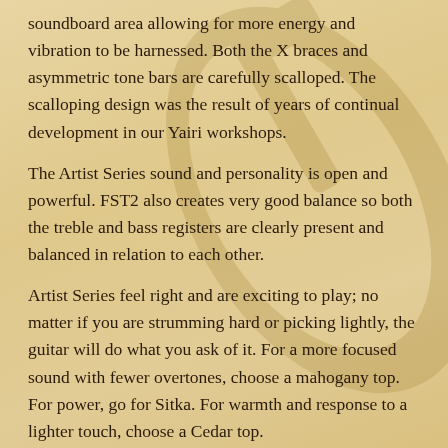soundboard area allowing for more energy and vibration to be harnessed. Both the X braces and asymmetric tone bars are carefully scalloped. The scalloping design was the result of years of continual development in our Yairi workshops.
The Artist Series sound and personality is open and powerful. FST2 also creates very good balance so both the treble and bass registers are clearly present and balanced in relation to each other.
Artist Series feel right and are exciting to play; no matter if you are strumming hard or picking lightly, the guitar will do what you ask of it. For a more focused sound with fewer overtones, choose a mahogany top. For power, go for Sitka. For warmth and response to a lighter touch, choose a Cedar top.
All of our tops are selected by our team and graded independently of our suppliers. If it isn't worthy, we won't use it. Top quality improves as you move up the Artist Series models